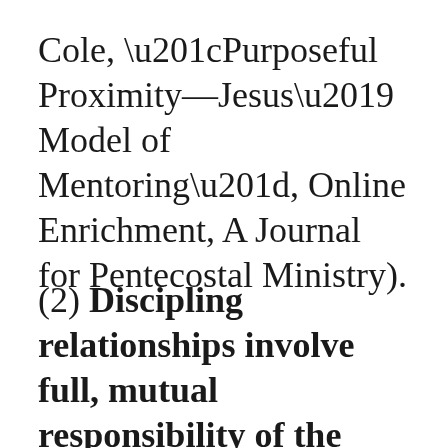Cole, “Purposeful Proximity—Jesus’ Model of Mentoring”, Online Enrichment, A Journal for Pentecostal Ministry).
(2) Discipling relationships involve full, mutual responsibility of the participants, whereas